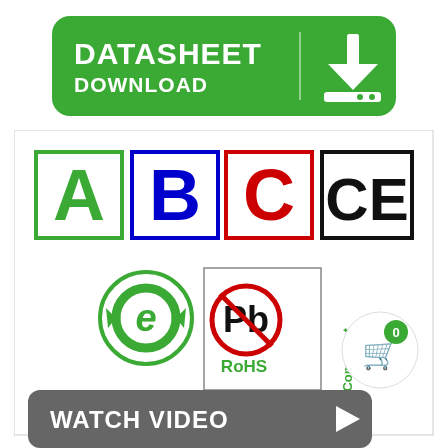[Figure (infographic): Green rounded rectangle button with white bold text DATASHEET on first line and DOWNLOAD on second line, with a download arrow icon on the right side separated by a vertical divider line]
[Figure (infographic): White box containing six compliance certification logos in two rows: Row 1: Green-bordered A (Class A EMC), Blue-bordered B (Class B EMC), Red-bordered C, Black-bordered CE mark; Row 2: Green circular e-recycling symbol, RoHS Compliant Pb-free logo]
[Figure (infographic): Dark grey rounded rectangle button with white bold text WATCH VIDEO and a play button arrow icon on the right]
[Figure (infographic): White circular cart bubble with green badge showing 0 and a shopping cart icon]